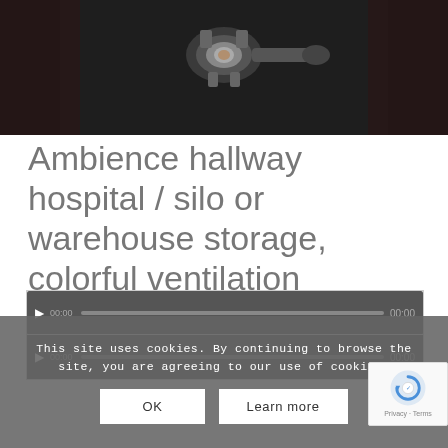[Figure (photo): Dark image of what appears to be a mechanical or ventilation fitting/duct, photographed against a dark background with reddish accent lighting.]
Ambience hallway hospital / silo or warehouse storage, colorful ventilation
€8,00
[Figure (screenshot): Audio player bar with play button and progress bar, dark gray background.]
[Figure (screenshot): Second audio player bar with play button, dark gray background.]
This site uses cookies. By continuing to browse the site, you are agreeing to our use of cookies.
OK
Learn more